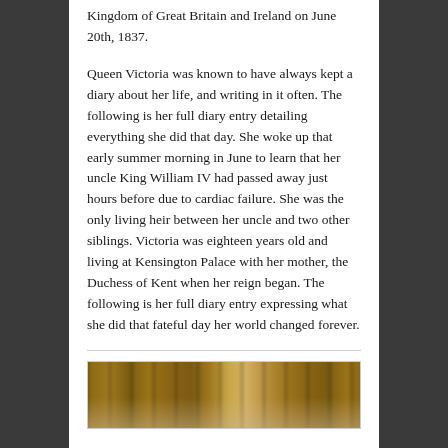Kingdom of Great Britain and Ireland on June 20th, 1837.
Queen Victoria was known to have always kept a diary about her life, and writing in it often. The following is her full diary entry detailing everything she did that day. She woke up that early summer morning in June to learn that her uncle King William IV had passed away just hours before due to cardiac failure. She was the only living heir between her uncle and two other siblings. Victoria was eighteen years old and living at Kensington Palace with her mother, the Duchess of Kent when her reign began. The following is her full diary entry expressing what she did that fateful day her world changed forever.
[Figure (photo): A photograph showing wooden paneling or furniture, brown tones, partially visible interior scene.]